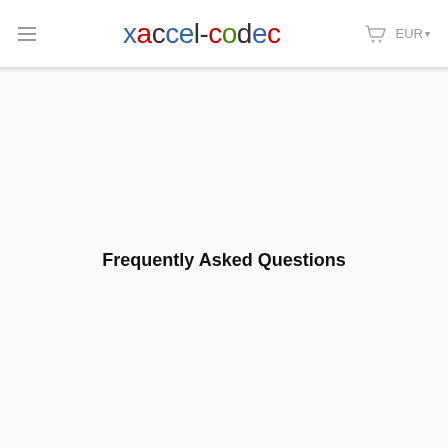xaccel-codec  EUR
Frequently Asked Questions